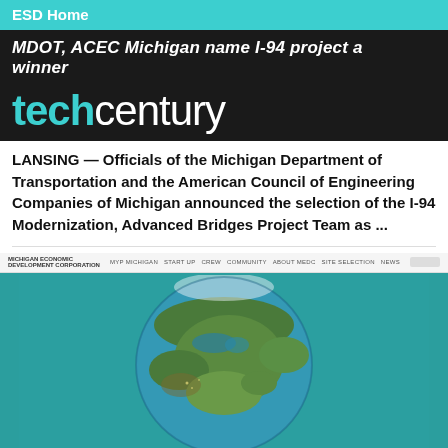ESD Home
MDOT, ACEC Michigan name I-94 project a winner
[Figure (logo): techcentury logo in cyan and white on black background]
LANSING — Officials of the Michigan Department of Transportation and the American Council of Engineering Companies of Michigan announced the selection of the I-94 Modernization, Advanced Bridges Project Team as ...
[Figure (screenshot): Screenshot of Michigan Economic Development Corporation website showing a globe image centered on North America with teal background and a 'Pure Business' overlay bar at the bottom]